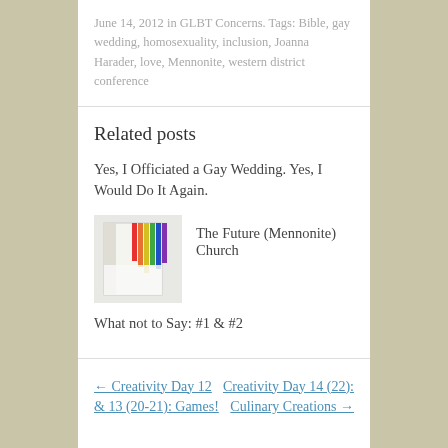June 14, 2012 in GLBT Concerns. Tags: Bible, gay wedding, homosexuality, inclusion, Joanna Harader, love, Mennonite, western district conference
Related posts
Yes, I Officiated a Gay Wedding. Yes, I Would Do It Again.
[Figure (photo): Thumbnail image showing colorful fabric or ribbons, likely a book with rainbow-colored bookmark ribbons]
The Future (Mennonite) Church
What not to Say: #1 & #2
← Creativity Day 12 & 13 (20-21): Games!
Creativity Day 14 (22): Culinary Creations →